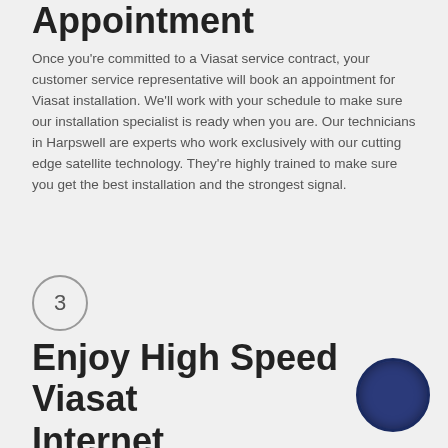Schedule an Installation Appointment
Once you're committed to a Viasat service contract, your customer service representative will book an appointment for Viasat installation. We'll work with your schedule to make sure our installation specialist is ready when you are. Our technicians in Harpswell are experts who work exclusively with our cutting edge satellite technology. They're highly trained to make sure you get the best installation and the strongest signal.
3
Enjoy High Speed Viasat Internet
Now comes the fun part--enjoy your high speed internet service! Browse, chat, post, and stream with the confidence that your